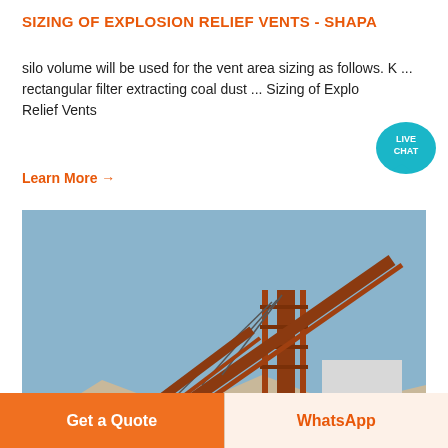SIZING OF EXPLOSION RELIEF VENTS - SHAPA
silo volume will be used for the vent area sizing as follows. K ... rectangular filter extracting coal dust ... Sizing of Explosion Relief Vents
Learn More →
[Figure (photo): Industrial conveyor and material handling equipment at a mining or quarrying site, showing large orange metal conveyor structures, steel framework, and aggregate piles under a blue sky.]
Get a Quote
WhatsApp